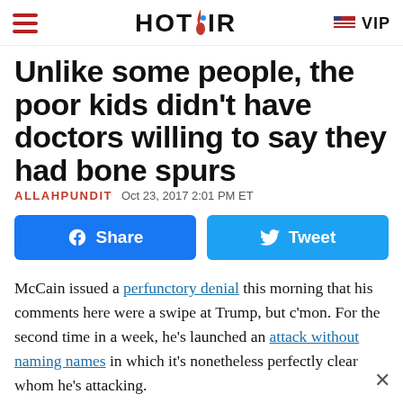HOT AIR  VIP
Unlike some people, the poor kids didn't have doctors willing to say they had bone spurs
ALLAHPUNDIT  Oct 23, 2017 2:01 PM ET
[Figure (other): Facebook Share button and Twitter Tweet button]
McCain issued a perfunctory denial this morning that his comments here were a swipe at Trump, but c'mon. For the second time in a week, he's launched an attack without naming names in which it's nonetheless perfectly clear whom he's attacking.